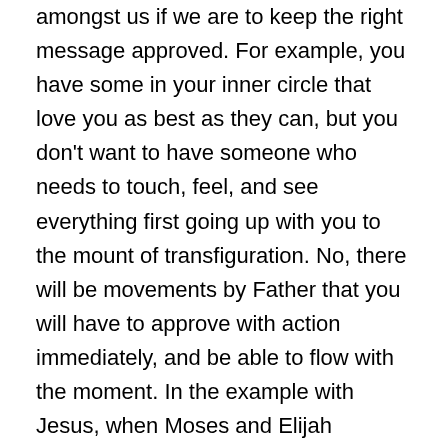amongst us if we are to keep the right message approved. For example, you have some in your inner circle that love you as best as they can, but you don't want to have someone who needs to touch, feel, and see everything first going up with you to the mount of transfiguration. No, there will be movements by Father that you will have to approve with action immediately, and be able to flow with the moment. In the example with Jesus, when Moses and Elijah appeared at the mount of transfiguration, there would be no time to explain to a doubting Thomas all the unexplainable things going on at that time: Jesus just needed the inner circle with him to be able to approve that message, and flow with Him in faith as did Peter, James, and John. It's your decision if you miss a move by Father because of sending, or taking the wrong representation to the fight. The little shepherd boy David did not allow the mighty King to talk him into wearing the wrong armor to